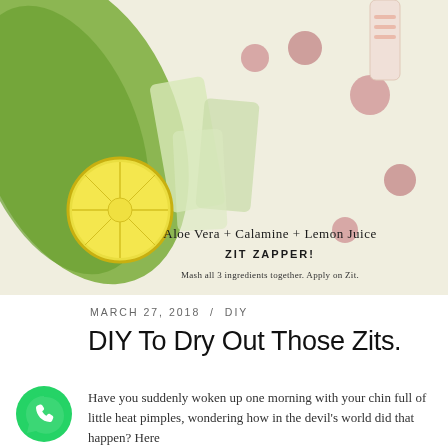[Figure (photo): Hero image showing aloe vera leaf, halved lemon, pink calamine pills/tablets, and a cosmetic tube on a light green and cream background. Overlaid text reads: 'Aloe Vera + Calamine + Lemon Juice', 'ZIT ZAPPER!', 'Mash all 3 ingredients together. Apply on Zit.']
MARCH 27, 2018 / DIY
DIY To Dry Out Those Zits.
Have you suddenly woken up one morning with your chin full of little heat pimples, wondering how in the devil's world did that happen? Here